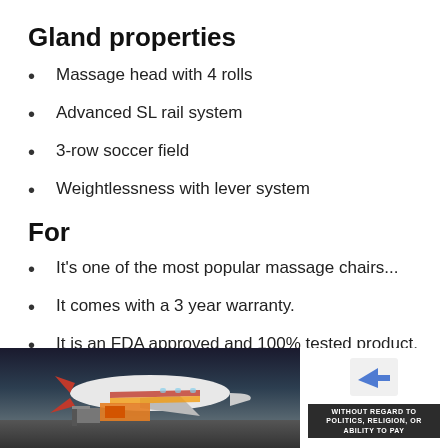Gland properties
Massage head with 4 rolls
Advanced SL rail system
3-row soccer field
Weightlessness with lever system
For
It's one of the most popular massage chairs...
It comes with a 3 year warranty.
It is an FDA approved and 100% tested product.
It can hold a man with a weight of 320 pounds
[Figure (photo): Advertisement overlay showing an airplane cargo image with text 'WITHOUT REGARD TO POLITICS, RELIGION, OR ABILITY TO PAY']